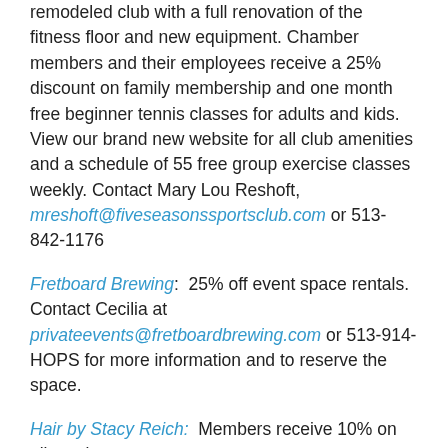remodeled club with a full renovation of the fitness floor and new equipment. Chamber members and their employees receive a 25% discount on family membership and one month free beginner tennis classes for adults and kids. View our brand new website for all club amenities and a schedule of 55 free group exercise classes weekly. Contact Mary Lou Reshoft, mreshoft@fiveseasonssportsclub.com or 513-842-1176
Fretboard Brewing: 25% off event space rentals. Contact Cecilia at privateevents@fretboardbrewing.com or 513-914-HOPS for more information and to reserve the space.
Hair by Stacy Reich: Members receive 10% on all services.
James Free Jewelers: 10% discount repair service on jewelry and timepieces, and free jewelry cleaning and